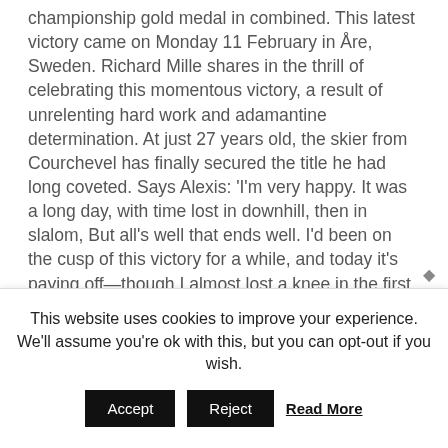championship gold medal in combined. This latest victory came on Monday 11 February in Åre, Sweden. Richard Mille shares in the thrill of celebrating this momentous victory, a result of unrelenting hard work and adamantine determination. At just 27 years old, the skier from Courchevel has finally secured the title he had long coveted. Says Alexis: 'I'm very happy. It was a long day, with time lost in downhill, then in slalom, But all's well that ends well. I'd been on the cusp of this victory for a while, and today it's paying off—though I almost lost a knee in the first run and have a contusion.'Starting from 24th place, 1.5 seconds behind Italian skier
This website uses cookies to improve your experience. We'll assume you're ok with this, but you can opt-out if you wish.
Accept  Reject  Read More